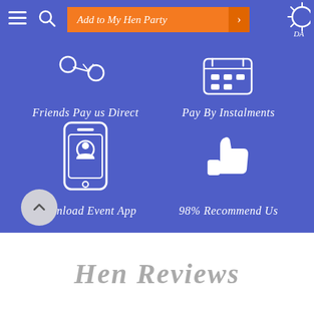[Figure (screenshot): Mobile app navigation bar with hamburger menu, search icon, orange 'Add to My Hen Party' button with arrow, and a partial sun/day icon on the right]
Friends Pay us Direct
Pay By Instalments
[Figure (illustration): White icon of a smartphone with a person/contact icon inside]
Download Event App
[Figure (illustration): White thumbs up icon]
98% Recommend Us
Hen Reviews